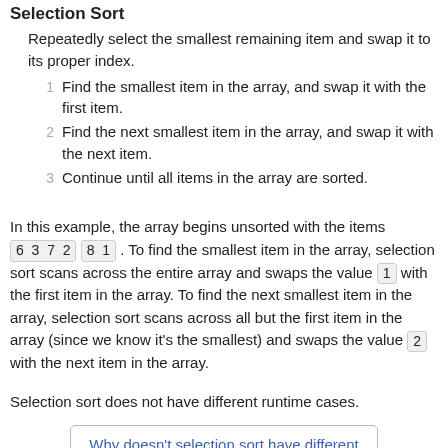Selection Sort
Repeatedly select the smallest remaining item and swap it to its proper index.
Find the smallest item in the array, and swap it with the first item.
Find the next smallest item in the array, and swap it with the next item.
Continue until all items in the array are sorted.
In this example, the array begins unsorted with the items 6 3 7 2 8 1 . To find the smallest item in the array, selection sort scans across the entire array and swaps the value 1 with the first item in the array. To find the next smallest item in the array, selection sort scans across all but the first item in the array (since we know it's the smallest) and swaps the value 2 with the next item in the array.
Selection sort does not have different runtime cases.
Why doesn't selection sort have different best or